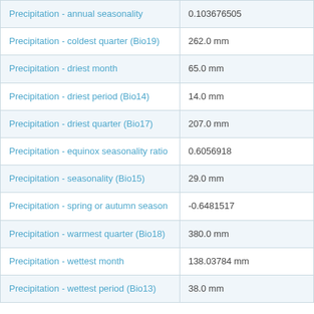| Precipitation - annual seasonality | 0.103676505 |
| Precipitation - coldest quarter (Bio19) | 262.0 mm |
| Precipitation - driest month | 65.0 mm |
| Precipitation - driest period (Bio14) | 14.0 mm |
| Precipitation - driest quarter (Bio17) | 207.0 mm |
| Precipitation - equinox seasonality ratio | 0.6056918 |
| Precipitation - seasonality (Bio15) | 29.0 mm |
| Precipitation - spring or autumn season | -0.6481517 |
| Precipitation - warmest quarter (Bio18) | 380.0 mm |
| Precipitation - wettest month | 138.03784 mm |
| Precipitation - wettest period (Bio13) | 38.0 mm |